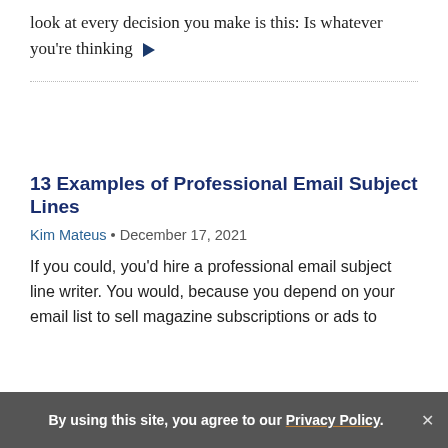look at every decision you make is this: Is whatever you're thinking ▶
13 Examples of Professional Email Subject Lines
Kim Mateus • December 17, 2021
If you could, you'd hire a professional email subject line writer. You would, because you depend on your email list to sell magazine subscriptions or ads to
By using this site, you agree to our Privacy Policy.